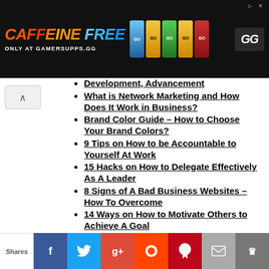[Figure (infographic): Advertisement banner: CAFFEINE FREE – ONLY AT GAMERSUPPS.GG with colorful energy drink cans and logo]
Development, Advancement
What is Network Marketing and How Does It Work in Business?
Brand Color Guide – How to Choose Your Brand Colors?
9 Tips on How to be Accountable to Yourself At Work
15 Hacks on How to Delegate Effectively As A Leader
8 Signs of A Bad Business Websites – How To Overcome
14 Ways on How to Motivate Others to Achieve A Goal
11 Types of Business Marketing
[Figure (infographic): Social share bar with Shares label, Facebook, Twitter, Google+, Reddit, Pinterest, Email, and Flipboard buttons]